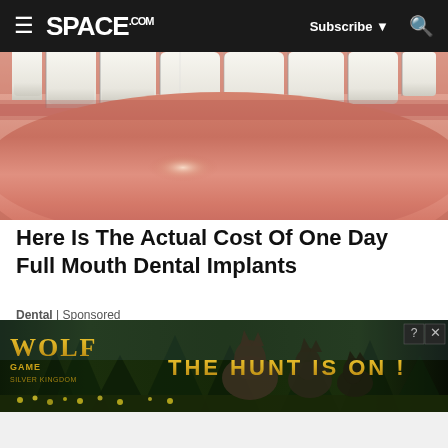SPACE.com | Subscribe | Search
[Figure (photo): Close-up photo of a mouth with white teeth visible at top and pink/red glossy lips below]
Here Is The Actual Cost Of One Day Full Mouth Dental Implants
Dental | Sponsored
[Figure (photo): Photo of a bald man against a dark circular background, partially visible]
[Figure (advertisement): Wolf Game advertisement banner showing wolves and text 'THE HUNT IS ON!']